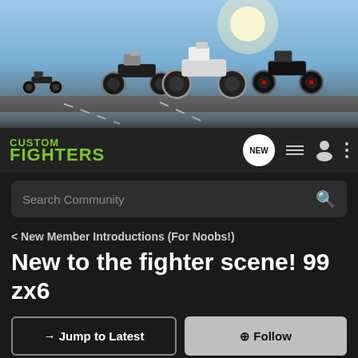[Figure (photo): Hero banner showing multiple motorcycles on a road with a bright sky background]
[Figure (logo): Custom Fighters logo in green text with navigation icons]
Search Community
< New Member Introductions (For Noobs!)
New to the fighter scene! 99 zx6
→ Jump to Latest
+ Follow
1 - 7 of 7 Posts
Streetrider · Registered
Joined Jul 13, 2013 · 11 Posts